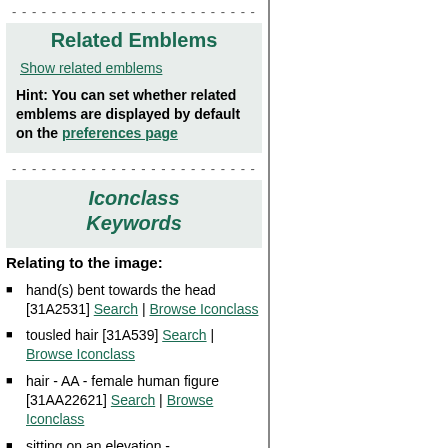- - - - - - - - - - - - - - - - - - - - - - - - -
Related Emblems
Show related emblems
Hint: You can set whether related emblems are displayed by default on the preferences page
- - - - - - - - - - - - - - - - - - - - - - - - -
Iconclass Keywords
Relating to the image:
hand(s) bent towards the head [31A2531] Search | Browse Iconclass
tousled hair [31A539] Search | Browse Iconclass
hair - AA - female human figure [31AA22621] Search | Browse Iconclass
sitting on an elevation -